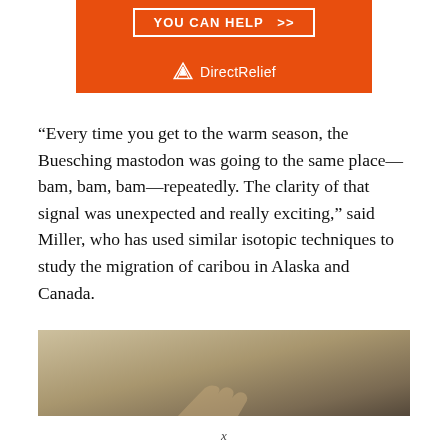[Figure (logo): Direct Relief orange advertisement banner with 'YOU CAN HELP >>' button and Direct Relief logo in white on orange background]
“Every time you get to the warm season, the Buesching mastodon was going to the same place—bam, bam, bam—repeatedly. The clarity of that signal was unexpected and really exciting,” said Miller, who has used similar isotopic techniques to study the migration of caribou in Alaska and Canada.
[Figure (photo): Close-up photograph of a hand or object against a beige/tan background, partially visible at bottom of page]
x